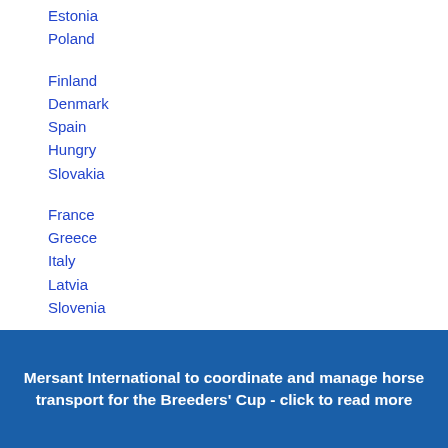Estonia
Poland
Finland
Denmark
Spain
Hungry
Slovakia
France
Greece
Italy
Latvia
Slovenia
Mersant International to coordinate and manage horse transport for the Breeders' Cup - click to read more